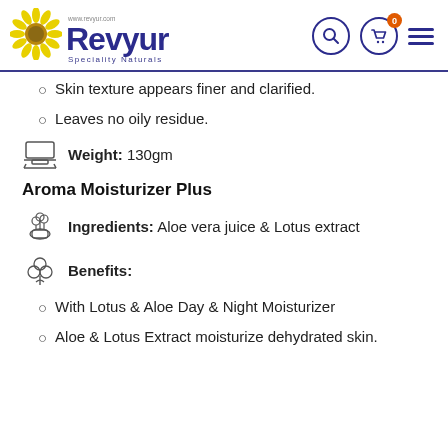[Figure (logo): Revyur Speciality Naturals logo with sunflower and brand name]
Skin texture appears finer and clarified.
Leaves no oily residue.
Weight: 130gm
Aroma Moisturizer Plus
Ingredients: Aloe vera juice & Lotus extract
Benefits:
With Lotus & Aloe Day & Night Moisturizer
Aloe & Lotus Extract moisturize dehydrated skin.